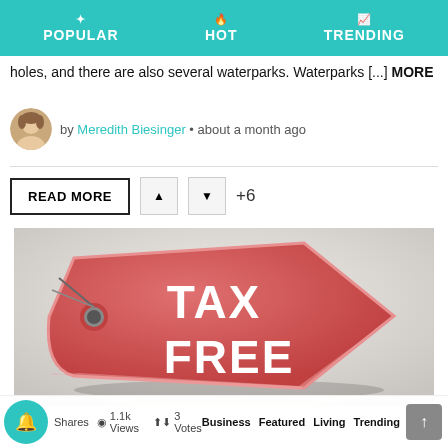POPULAR  HOT  TRENDING
holes, and there are also several waterparks. Waterparks [...] MORE
by Meredith Biesinger • about a month ago
READ MORE  +6
[Figure (photo): A red price tag with 'TAX FREE' written in large white bold letters on a light background]
Shares  1.1k Views  3 Votes  Business  Featured  Living  Trending